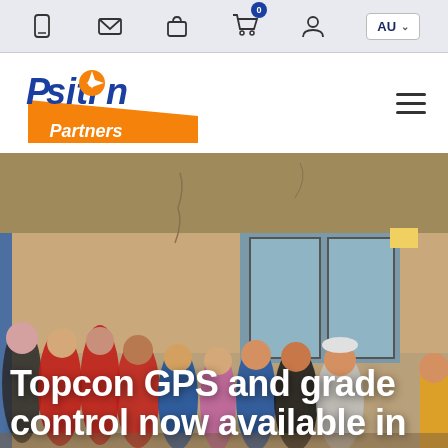Navigation bar with icons: phone, email, bag, cart (0), user account, AU country selector
[Figure (logo): Position Partners logo — blue italic 'Position' text with orange compass star replacing the 'o', orange triangular banner below with white 'Partners' text]
[Figure (photo): Group of people in red and blue work uniforms giving thumbs up, standing in front of a building with cracked walls]
Topcon GPS and grade control now available in